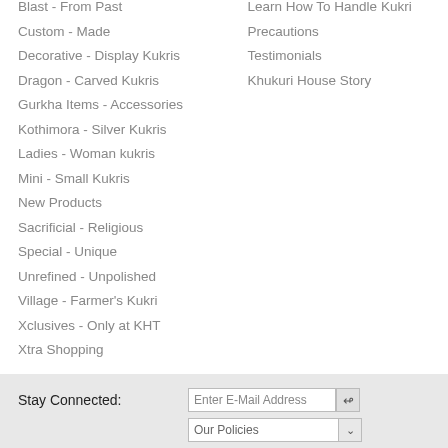Blast - From Past
Custom - Made
Decorative - Display Kukris
Dragon - Carved Kukris
Gurkha Items - Accessories
Kothimora - Silver Kukris
Ladies - Woman kukris
Mini - Small Kukris
New Products
Sacrificial - Religious
Special - Unique
Unrefined - Unpolished
Village - Farmer's Kukri
Xclusives - Only at KHT
Xtra Shopping
Learn How To Handle Kukri
Precautions
Testimonials
Khukuri House Story
Stay Connected:
Enter E-Mail Address
Our Policies